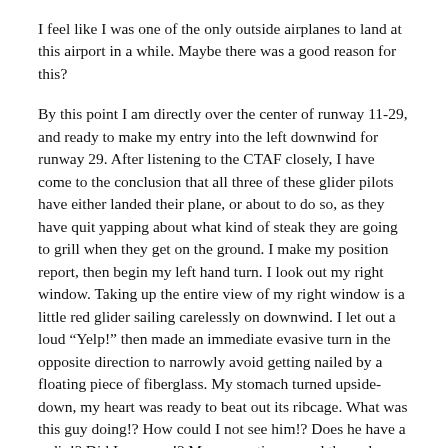I feel like I was one of the only outside airplanes to land at this airport in a while. Maybe there was a good reason for this?
By this point I am directly over the center of runway 11-29, and ready to make my entry into the left downwind for runway 29. After listening to the CTAF closely, I have come to the conclusion that all three of these glider pilots have either landed their plane, or about to do so, as they have quit yapping about what kind of steak they are going to grill when they get on the ground. I make my position report, then begin my left hand turn. I look out my right window. Taking up the entire view of my right window is a little red glider sailing carelessly on downwind. I let out a loud “Yelp!” then made an immediate evasive turn in the opposite direction to narrowly avoid getting nailed by a floating piece of fiberglass. My stomach turned upside-down, my heart was ready to beat out its ribcage. What was this guy doing!? How could I not see him!? Does he have a radio!? Did I mess up!? Many questions raced through my mind. Many hours were spent on the ground ASAP after...